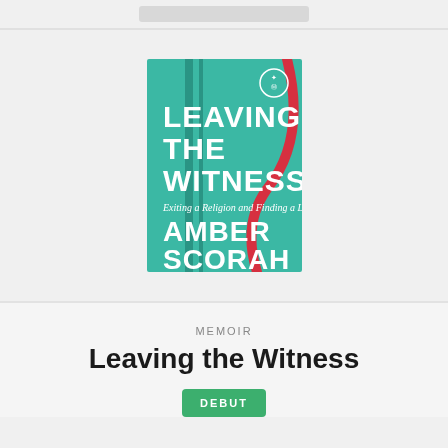[Figure (photo): Book cover of 'Leaving the Witness: Exiting a Religion and Finding a Life' by Amber Scorah. Teal/turquoise background with white bold text and vertical dark teal stripes on left side, a red curved line on right side, and a circular publisher logo in upper right corner.]
MEMOIR
Leaving the Witness
DEBUT